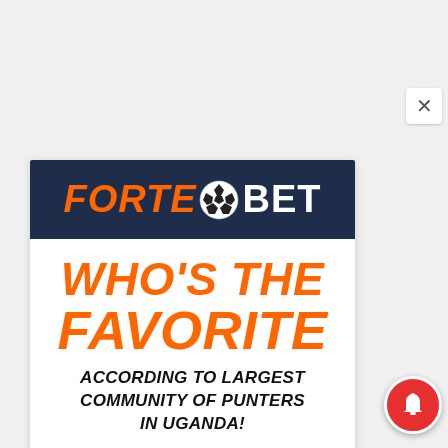[Figure (logo): ForteBet logo banner — dark navy background with orange italic bold 'FORTE' text, a soccer ball icon, and white bold 'BET' text]
WHO'S THE FAVORITE
ACCORDING TO LARGEST COMMUNITY OF PUNTERS IN UGANDA!